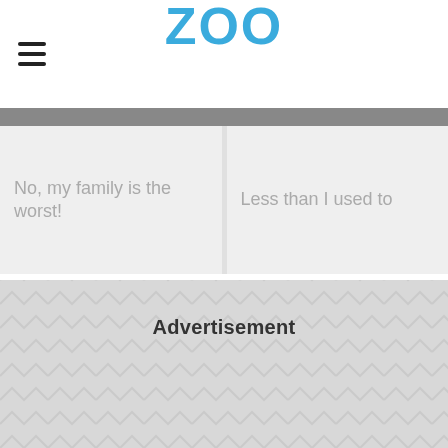ZOO
No, my family is the worst!
Less than I used to
Advertisement